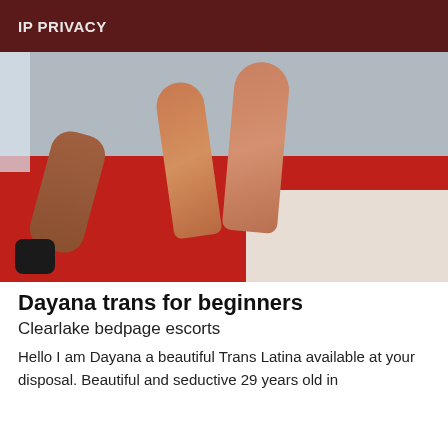IP PRIVACY
[Figure (photo): Photo of a person's legs raised on a red bed with white sheets visible in the corner and a grey wall in the background]
Dayana trans for beginners
Clearlake bedpage escorts
Hello I am Dayana a beautiful Trans Latina available at your disposal. Beautiful and seductive 29 years old in